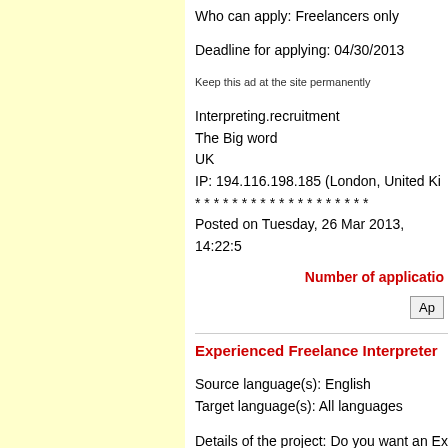Who can apply: Freelancers only
Deadline for applying: 04/30/2013
Keep this ad at the site permanently
Interpreting.recruitment
The Big word
UK
IP: 194.116.198.185 (London, United Ki...
* * * * * * * * * * * * * * * * * * *
Posted on Tuesday, 26 Mar 2013, 14:22:...
Number of applicatio...
Ap...
Experienced Freelance Interpreter...
Source language(s): English
Target language(s): All languages
Details of the project: Do you want an Ex...
Looking for a long-term, flexible role that...